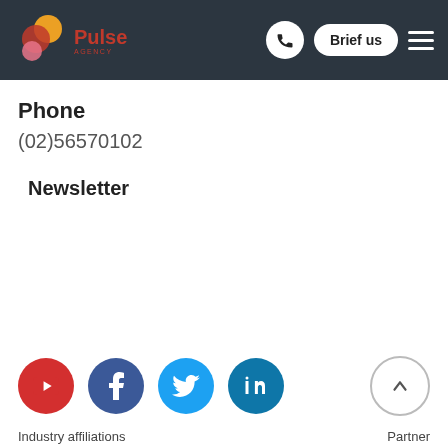[Figure (logo): Pulse Agency logo with orange/red/pink circular shapes and 'Pulse' text in red]
Phone
(02)56570102
Newsletter
[Figure (infographic): Social media icons row: YouTube (red), Facebook (dark blue), Twitter (light blue), LinkedIn (teal blue); and a back-to-top arrow circle button on the right]
Industry affiliations | Partner